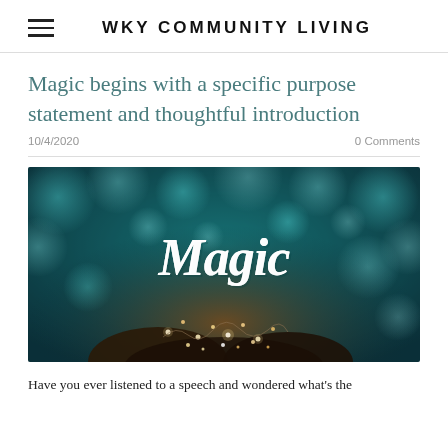WKY Community Living
Magic begins with a specific purpose statement and thoughtful introduction
10/4/2020   0 Comments
[Figure (photo): Dark teal bokeh background with the word 'Magic' in white script lettering, and hands holding fairy string lights in the foreground.]
Have you ever listened to a speech and wondered what's the